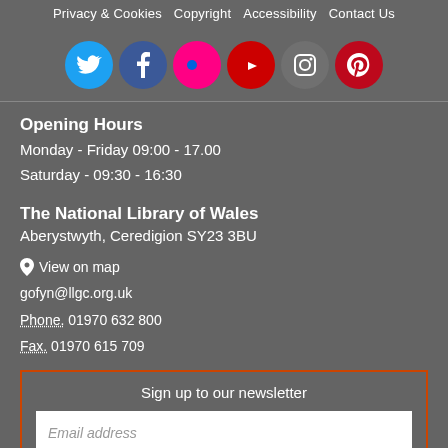Privacy & Cookies  Copyright  Accessibility  Contact Us
[Figure (illustration): Six social media icons in circles: Twitter (blue), Facebook (dark blue), Flickr (pink), YouTube (red), Instagram (grey), Pinterest (red)]
Opening Hours
Monday - Friday 09:00 - 17.00
Saturday - 09:30 - 16:30
The National Library of Wales
Aberystwyth, Ceredigion SY23 3BU
View on map
gofyn@llgc.org.uk
Phone. 01970 632 800
Fax. 01970 615 709
Sign up to our newsletter
Email address
SIGN UP